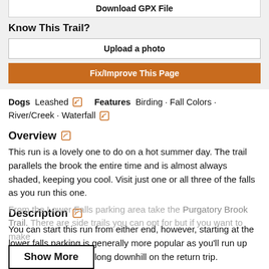[Figure (screenshot): Top bar with 'Download GPX File' button (truncated), 'Know This Trail?' label, 'Upload a photo' button, and 'Fix/Improve This Page' orange button]
Dogs Leashed [edit] Features Birding · Fall Colors · River/Creek · Waterfall [edit]
Overview [edit]
This run is a lovely one to do on a hot summer day. The trail parallels the brook the entire time and is almost always shaded, keeping you cool. Visit just one or all three of the falls as you run this one.
Description [edit]
You can start this run from either end, however, starting at the lower falls parking is generally more popular as you'll run up and then have a nice long downhill on the return trip.
From the Lower Falls parking area take the Purgatory Brook Trail. There are side trails you can opt for but if you want to make
[Figure (screenshot): Show More button]